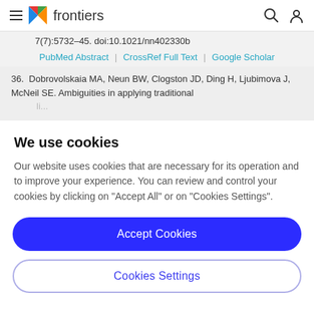frontiers
7(7):5732–45. doi:10.1021/nn402330b
PubMed Abstract | CrossRef Full Text | Google Scholar
36. Dobrovolskaia MA, Neun BW, Clogston JD, Ding H, Ljubimova J, McNeil SE. Ambiguities in applying traditional Limulus amebocyte lysate tests to...
We use cookies
Our website uses cookies that are necessary for its operation and to improve your experience. You can review and control your cookies by clicking on "Accept All" or on "Cookies Settings".
Accept Cookies
Cookies Settings